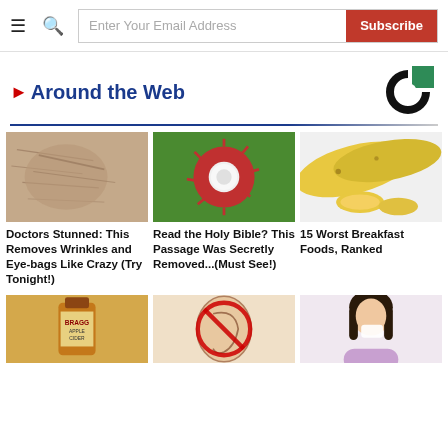Email subscription bar with hamburger menu, search icon, email input and Subscribe button
Around the Web
[Figure (logo): Partial circular logo with black and green/teal colors in top right corner]
[Figure (photo): Close-up of elderly person's wrinkled face/skin]
Doctors Stunned: This Removes Wrinkles and Eye-bags Like Crazy (Try Tonight!)
[Figure (photo): Hand holding a rambutan fruit with spiky red exterior and white interior]
Read the Holy Bible? This Passage Was Secretly Removed...(Must See!)
[Figure (photo): Yellow bananas with sliced banana pieces on white background]
15 Worst Breakfast Foods, Ranked
[Figure (photo): Bragg apple cider vinegar bottle]
[Figure (photo): Ear anatomy diagram with red circle/prohibition sign]
[Figure (photo): Woman with dark hair holding tissue to nose]